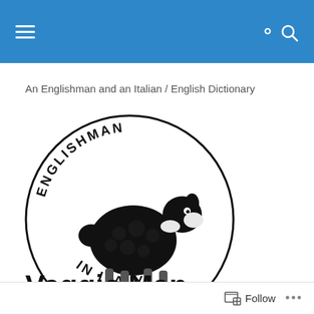Navigation header with hamburger menu and search icon
An Englishman and an Italian / English Dictionary
[Figure (logo): Circular logo with text 'ENGLISHMAN IN ITALY' around the border and a cartoon black sheep in the center]
Veggie Man
Follow ...